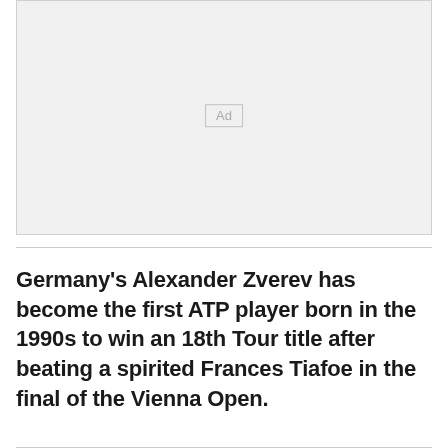[Figure (other): Advertisement placeholder box with 'Ad' label in center]
Germany's Alexander Zverev has become the first ATP player born in the 1990s to win an 18th Tour title after beating a spirited Frances Tiafoe in the final of the Vienna Open.